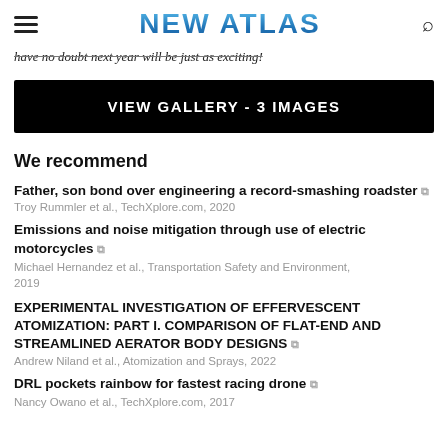NEW ATLAS
have no doubt next year will be just as exciting!
[Figure (other): Black button: VIEW GALLERY - 3 IMAGES]
We recommend
Father, son bond over engineering a record-smashing roadster — Troy Rummler et al., TechXplore.com, 2020
Emissions and noise mitigation through use of electric motorcycles — Michael Hernandez et al., Transportation Safety and Environment, 2019
EXPERIMENTAL INVESTIGATION OF EFFERVESCENT ATOMIZATION: PART I. COMPARISON OF FLAT-END AND STREAMLINED AERATOR BODY DESIGNS — Andrew Niland et al., Atomization and Sprays, 2022
DRL pockets rainbow for fastest racing drone — Nancy Owano et al., TechXplore.com, 2017